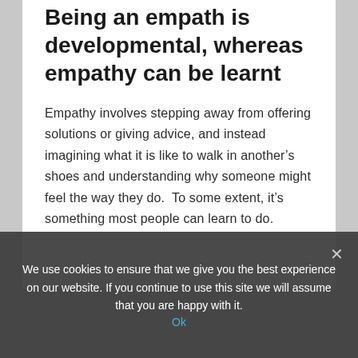Being an empath is developmental, whereas empathy can be learnt
Empathy involves stepping away from offering solutions or giving advice, and instead imagining what it is like to walk in another's shoes and understanding why someone might feel the way they do.  To some extent, it's something most people can learn to do.
We use cookies to ensure that we give you the best experience on our website. If you continue to use this site we will assume that you are happy with it.
Ok